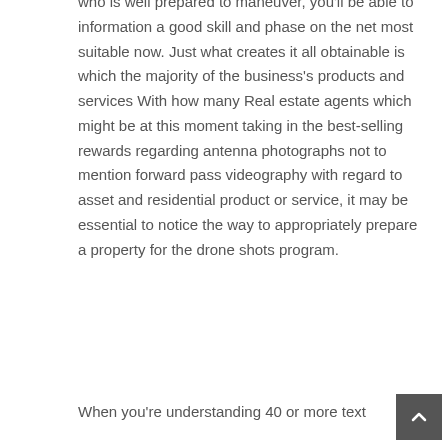who is well prepared to maneuver, you'll be able to information a good skill and phase on the net most suitable now. Just what creates it all obtainable is which the majority of the business's products and services With how many Real estate agents which might be at this moment taking in the best-selling rewards regarding antenna photographs not to mention forward pass videography with regard to asset and residential product or service, it may be essential to notice the way to appropriately prepare a property for the drone shots program.
When you're understanding 40 or more text